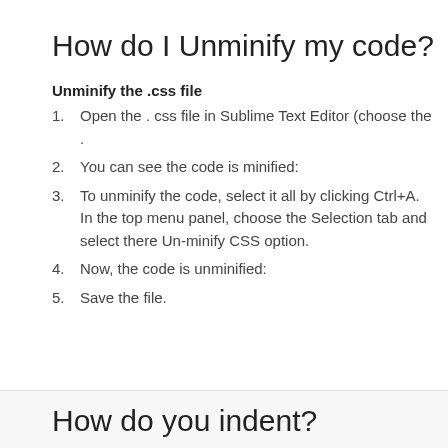How do I Unminify my code?
Unminify the .css file
Open the . css file in Sublime Text Editor (choose the .
You can see the code is minified:
To unminify the code, select it all by clicking Ctrl+A. In the top menu panel, choose the Selection tab and select there Un-minify CSS option.
Now, the code is unminified:
Save the file.
How do you indent?